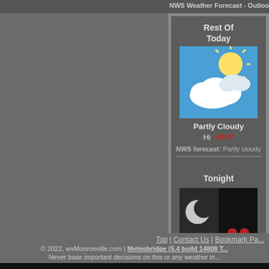NWS Weather Forecast - Outlook: Rest Of Today & To...
Rest Of
Today
[Figure (photo): Partly cloudy sky weather icon - blue sky with sun and clouds]
Partly Cloudy
Hi ~85°F
NWS forecast: Partly cloudy. Highs in t...
Tonight
[Figure (photo): Foggy night weather icon - dark sky with moon and red lights]
Fog late
Lo ~60°F
NWS forecast: Mainly clear. Patchy fog...
Top | Contact Us | Bookmark Pa...
© 2022, wxMonroeville.com | Meteobridge (5.4 build 14808 T...
Never base important decisions on this or any weather in...